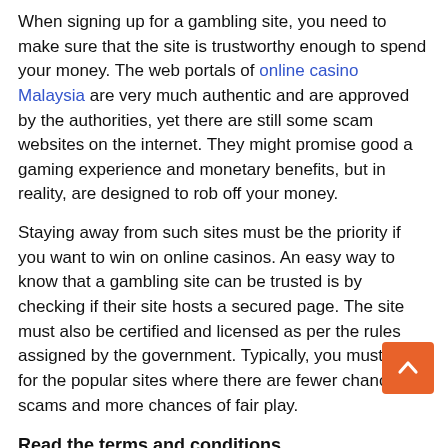When signing up for a gambling site, you need to make sure that the site is trustworthy enough to spend your money. The web portals of online casino Malaysia are very much authentic and are approved by the authorities, yet there are still some scam websites on the internet. They might promise good a gaming experience and monetary benefits, but in reality, are designed to rob off your money.
Staying away from such sites must be the priority if you want to win on online casinos. An easy way to know that a gambling site can be trusted is by checking if their site hosts a secured page. The site must also be certified and licensed as per the rules assigned by the government. Typically, you must go for the popular sites where there are fewer chances of scams and more chances of fair play.
Read the terms and conditions
Always read the terms and conditions stated by the gaming site before you enter into any agreement. This will help you to avoid any confusion regarding gaming rules and have a smooth gaming experience. You need to follow the conditions for further claiming bonuses and wins.